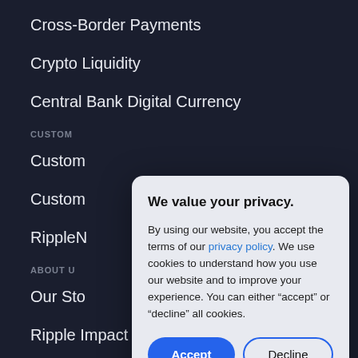Cross-Border Payments
Crypto Liquidity
Central Bank Digital Currency
CUSTOM
Custom
Custom
RippleN
ABOUT U
Our Sto
Ripple Impact
Academia
[Figure (screenshot): Cookie consent modal dialog with title 'We value your privacy.' and body text about privacy policy and cookies, with Accept and Decline buttons.]
We value your privacy.
By using our website, you accept the terms of our privacy policy. We use cookies to understand how you use our website and to improve your experience. You can either “accept” or “decline” all cookies.